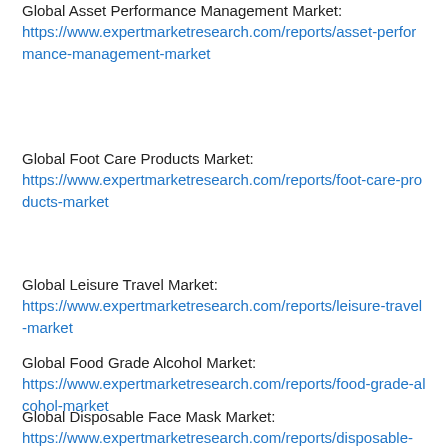Global Asset Performance Management Market: https://www.expertmarketresearch.com/reports/asset-performance-management-market
Global Foot Care Products Market: https://www.expertmarketresearch.com/reports/foot-care-products-market
Global Leisure Travel Market: https://www.expertmarketresearch.com/reports/leisure-travel-market
Global Food Grade Alcohol Market: https://www.expertmarketresearch.com/reports/food-grade-alcohol-market
Global Disposable Face Mask Market: https://www.expertmarketresearch.com/reports/disposable-